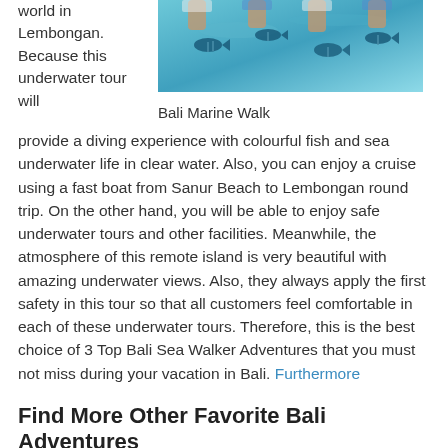world in Lembongan. Because this underwater tour will
[Figure (photo): Underwater photo showing people doing a marine walk with colorful tropical fish swimming around them]
Bali Marine Walk
provide a diving experience with colourful fish and sea underwater life in clear water. Also, you can enjoy a cruise using a fast boat from Sanur Beach to Lembongan round trip. On the other hand, you will be able to enjoy safe underwater tours and other facilities. Meanwhile, the atmosphere of this remote island is very beautiful with amazing underwater views. Also, they always apply the first safety in this tour so that all customers feel comfortable in each of these underwater tours. Therefore, this is the best choice of 3 Top Bali Sea Walker Adventures that you must not miss during your vacation in Bali. Furthermore
Find More Other Favorite Bali Adventures
White Water Rafting